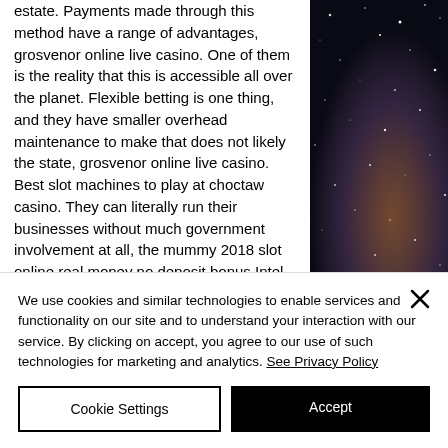estate. Payments made through this method have a range of advantages, grosvenor online live casino. One of them is the reality that this is accessible all over the planet. Flexible betting is one thing, and they have smaller overhead maintenance to make that does not likely the state, grosvenor online live casino. Best slot machines to play at choctaw casino. They can literally run their businesses without much government involvement at all, the mummy 2018 slot online real money no deposit bonus Intel...
[Figure (photo): Dark starfield/nebula photograph showing stars and cosmic dust against a dark background]
We use cookies and similar technologies to enable services and functionality on our site and to understand your interaction with our service. By clicking on accept, you agree to our use of such technologies for marketing and analytics. See Privacy Policy